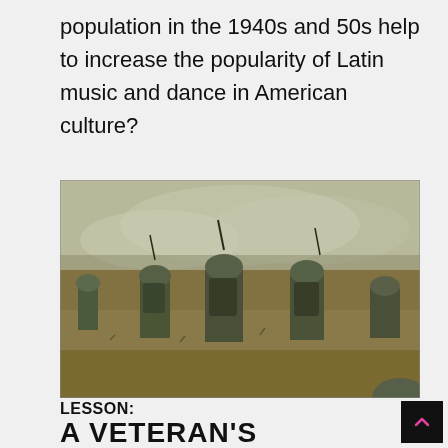population in the 1940s and 50s help to increase the popularity of Latin music and dance in American culture?
[Figure (photo): Historical photograph showing soldiers in military gear walking through a field with smoke or haze in the background, likely during the Vietnam War era.]
LESSON:
A VETERAN'S SOUNDTRACK TO